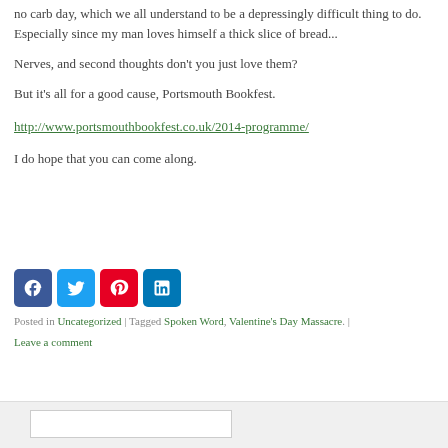no carb day, which we all understand to be a depressingly difficult thing to do. Especially since my man loves himself a thick slice of bread...
Nerves, and second thoughts don't you just love them?
But it's all for a good cause, Portsmouth Bookfest.
http://www.portsmouthbookfest.co.uk/2014-programme/
I do hope that you can come along.
[Figure (other): Social media icons: Facebook, Twitter, Pinterest, LinkedIn]
Posted in Uncategorized | Tagged Spoken Word, Valentine's Day Massacre. | Leave a comment